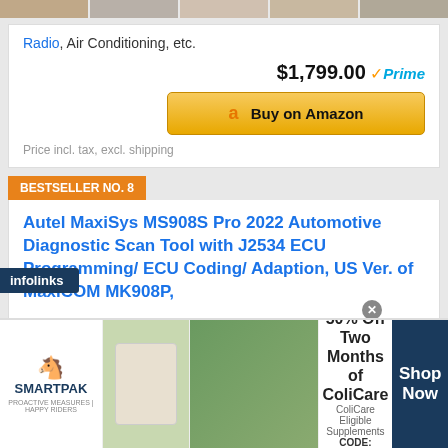[Figure (photo): Row of thumbnail images at top of page]
Radio, Air Conditioning, etc.
$1,799.00 ✓Prime
[Figure (other): Buy on Amazon button with Amazon logo]
Price incl. tax, excl. shipping
BESTSELLER NO. 8
Autel MaxiSys MS908S Pro 2022 Automotive Diagnostic Scan Tool with J2534 ECU Programming/ ECU Coding/ Adaption, US Ver. of MaxiCOM MK908P,
[Figure (photo): SmartPak advertisement banner - 50% Off Two Months of ColiCare, ColiCare Eligible Supplements, CODE: COLICARE10, Shop Now]